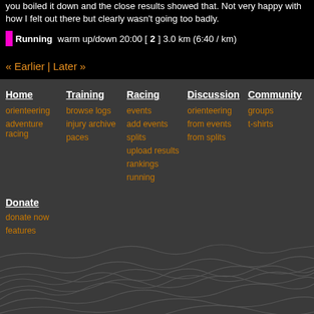you boiled it down and the close results showed that. Not very happy with how I felt out there but clearly wasn't going too badly.
Running warm up/down 20:00 [2] 3.0 km (6:40 / km)
« Earlier | Later »
Home
orienteering
adventure racing
Training
browse logs
injury archive
paces
Racing
events
add events
splits
upload results
rankings
running
Discussion
orienteering
from events
from splits
Community
groups
t-shirts
Donate
donate now
features